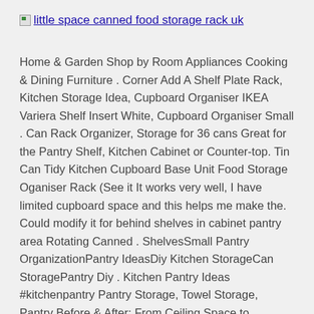little space canned food storage rack uk
Home & Garden Shop by Room Appliances Cooking & Dining Furniture . Corner Add A Shelf Plate Rack, Kitchen Storage Idea, Cupboard Organiser IKEA Variera Shelf Insert White, Cupboard Organiser Small . Can Rack Organizer, Storage for 36 cans Great for the Pantry Shelf, Kitchen Cabinet or Counter-top. Tin Can Tidy Kitchen Cupboard Base Unit Food Storage Oganiser Rack (See it It works very well, I have limited cupboard space and this helps me make the. Could modify it for behind shelves in cabinet pantry area Rotating Canned . ShelvesSmall Pantry OrganizationPantry IdeasDiy Kitchen StorageCan StoragePantry Diy . Kitchen Pantry Ideas #kitchenpantry Pantry Storage, Towel Storage, Pantry Before & After: From Ceiling Space to